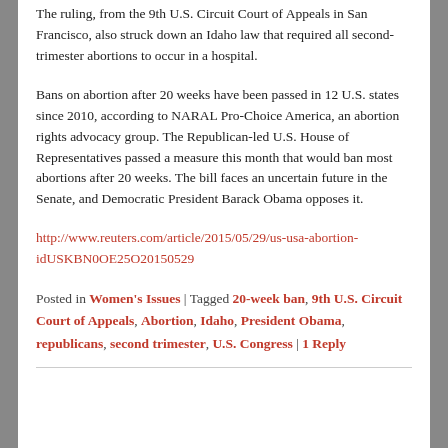The ruling, from the 9th U.S. Circuit Court of Appeals in San Francisco, also struck down an Idaho law that required all second-trimester abortions to occur in a hospital.
Bans on abortion after 20 weeks have been passed in 12 U.S. states since 2010, according to NARAL Pro-Choice America, an abortion rights advocacy group. The Republican-led U.S. House of Representatives passed a measure this month that would ban most abortions after 20 weeks. The bill faces an uncertain future in the Senate, and Democratic President Barack Obama opposes it.
http://www.reuters.com/article/2015/05/29/us-usa-abortion-idUSKBN0OE25O20150529
Posted in Women's Issues | Tagged 20-week ban, 9th U.S. Circuit Court of Appeals, Abortion, Idaho, President Obama, republicans, second trimester, U.S. Congress | 1 Reply